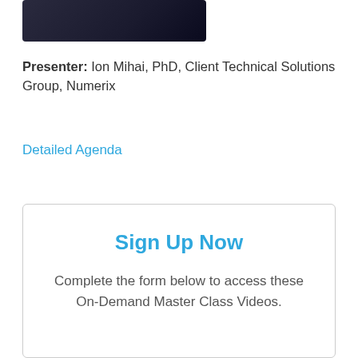[Figure (screenshot): Partial video thumbnail showing a dark-themed presentation slide with a figure at the top of the page]
Presenter: Ion Mihai, PhD, Client Technical Solutions Group, Numerix
Detailed Agenda
Sign Up Now
Complete the form below to access these On-Demand Master Class Videos.